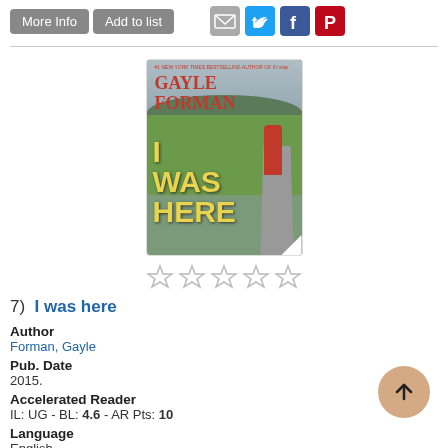[Figure (screenshot): Top bar with More Info and Add to list buttons, and social sharing icons (email, Twitter, Facebook, Pinterest)]
[Figure (illustration): Book cover of 'I Was Here' by Gayle Forman showing a girl standing on a country road with yellow bold title text]
[Figure (other): Five empty star rating icons]
7)  I was here
Author
Forman, Gayle
Pub. Date
2015.
Accelerated Reader
IL: UG - BL: 4.6 - AR Pts: 10
Language
English